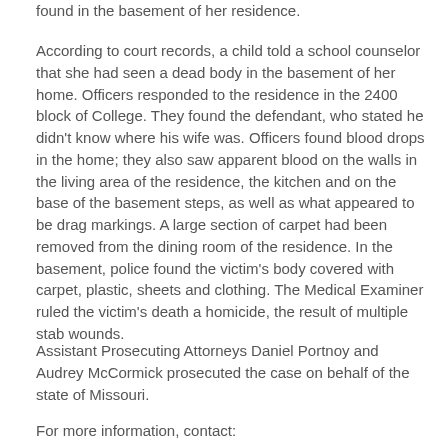found in the basement of her residence.
According to court records, a child told a school counselor that she had seen a dead body in the basement of her home. Officers responded to the residence in the 2400 block of College. They found the defendant, who stated he didn't know where his wife was. Officers found blood drops in the home; they also saw apparent blood on the walls in the living area of the residence, the kitchen and on the base of the basement steps, as well as what appeared to be drag markings. A large section of carpet had been removed from the dining room of the residence. In the basement, police found the victim's body covered with carpet, plastic, sheets and clothing. The Medical Examiner ruled the victim's death a homicide, the result of multiple stab wounds.
Assistant Prosecuting Attorneys Daniel Portnoy and Audrey McCormick prosecuted the case on behalf of the state of Missouri.
For more information, contact: